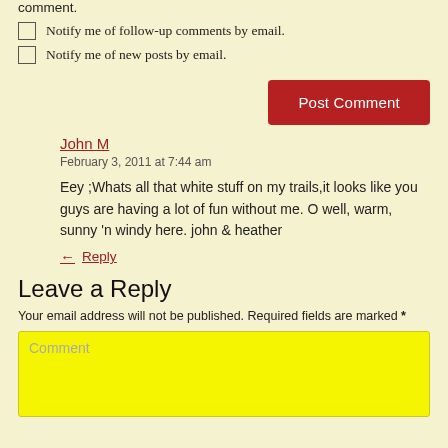comment.
Notify me of follow-up comments by email.
Notify me of new posts by email.
Post Comment
John M
February 3, 2011 at 7:44 am
Eey ;Whats all that white stuff on my trails,it looks like you guys are having a lot of fun without me. O well, warm, sunny ’n windy here. john & heather
Reply
Leave a Reply
Your email address will not be published. Required fields are marked *
Comment